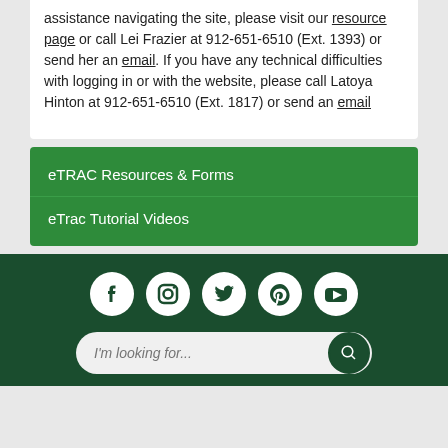assistance navigating the site, please visit our resource page or call Lei Frazier at 912-651-6510 (Ext. 1393) or send her an email. If you have any technical difficulties with logging in or with the website, please call Latoya Hinton at 912-651-6510 (Ext. 1817) or send an email
eTRAC Resources & Forms
eTrac Tutorial Videos
[Figure (infographic): Social media icons row: Facebook, Instagram, Twitter, Pinterest, YouTube on dark green background]
I'm looking for...